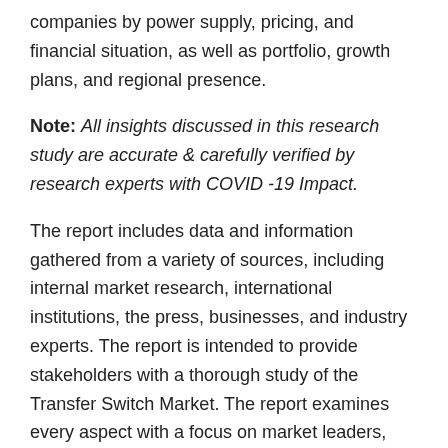companies by power supply, pricing, and financial situation, as well as portfolio, growth plans, and regional presence.
Note: All insights discussed in this research study are accurate & carefully verified by research experts with COVID -19 Impact.
The report includes data and information gathered from a variety of sources, including internal market research, international institutions, the press, businesses, and industry experts. The report is intended to provide stakeholders with a thorough study of the Transfer Switch Market. The report examines every aspect with a focus on market leaders, followers, and new entrants.